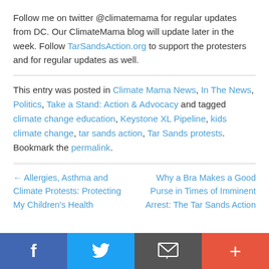Follow me on twitter @climatemama for regular updates from DC. Our ClimateMama blog will update later in the week. Follow TarSandsAction.org to support the protesters and for regular updates as well.
This entry was posted in Climate Mama News, In The News, Politics, Take a Stand: Action & Advocacy and tagged climate change education, Keystone XL Pipeline, kids climate change, tar sands action, Tar Sands protests. Bookmark the permalink.
← Allergies, Asthma and Climate Protests: Protecting My Children's Health
Why a Bra Makes a Good Purse in Times of Imminent Arrest: The Tar Sands Action
[Figure (infographic): Bottom navigation bar with Facebook (blue), Twitter (light blue), Email/envelope (dark gray), and Plus (orange-red) icons]